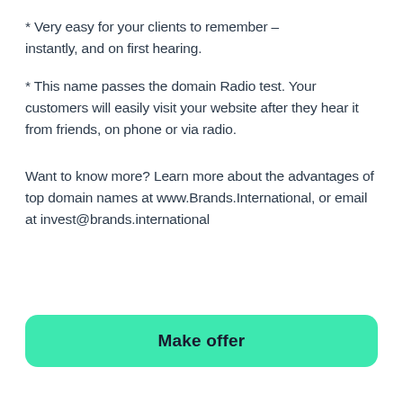* Very easy for your clients to remember – instantly, and on first hearing.
* This name passes the domain Radio test. Your customers will easily visit your website after they hear it from friends, on phone or via radio.
Want to know more? Learn more about the advantages of top domain names at www.Brands.International, or email at invest@brands.international
Make offer